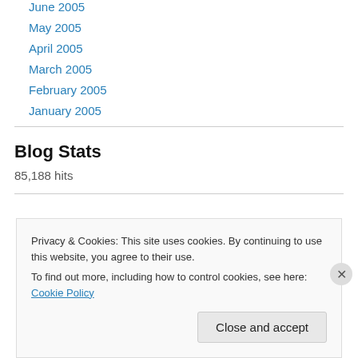June 2005
May 2005
April 2005
March 2005
February 2005
January 2005
Blog Stats
85,188 hits
JUNE 2008
Privacy & Cookies: This site uses cookies. By continuing to use this website, you agree to their use.
To find out more, including how to control cookies, see here: Cookie Policy
Close and accept